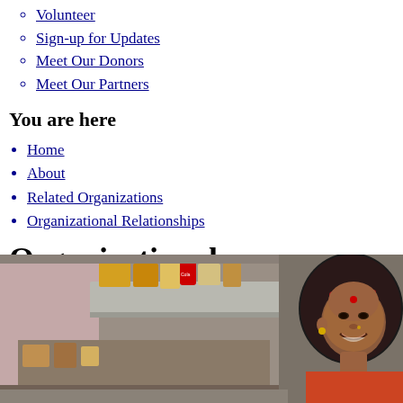Volunteer
Sign-up for Updates
Meet Our Donors
Meet Our Partners
You are here
Home
About
Related Organizations
Organizational Relationships
Organizational Relationships
[Figure (photo): A smiling Indian woman wearing a colorful patterned headscarf and a red bindi, photographed indoors with shelves visible in the background]